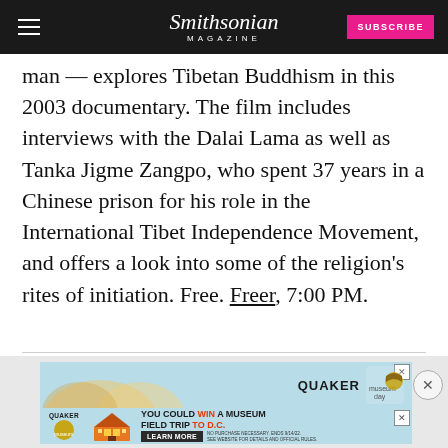Smithsonian Magazine — SUBSCRIBE
man — explores Tibetan Buddhism in this 2003 documentary. The film includes interviews with the Dalai Lama as well as Tanka Jigme Zangpo, who spent 37 years in a Chinese prison for his role in the International Tibet Independence Movement, and offers a look into some of the religion's rites of initiation. Free. Freer, 7:00 PM.
[Figure (infographic): Quaker and Museum Day advertisement banner showing an illustrated museum building with the text YOU COULD WIN A MUSEUM FIELD TRIP TO D.C. and a LEARN MORE button. Includes Quaker branding and museum-day logo.]